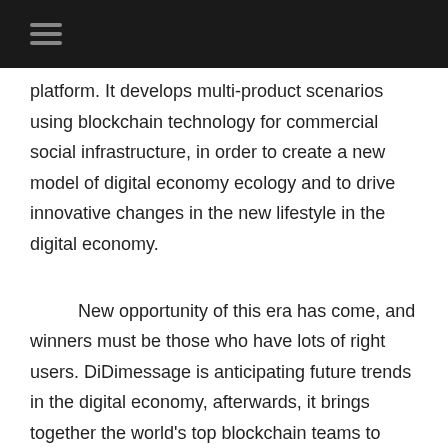platform. It develops multi-product scenarios using blockchain technology for commercial social infrastructure, in order to create a new model of digital economy ecology and to drive innovative changes in the new lifestyle in the digital economy.
New opportunity of this era has come, and winners must be those who have lots of right users. DiDimessage is anticipating future trends in the digital economy, afterwards, it brings together the world's top blockchain teams to form an entrepreneurial team to build the strategic layout of "blockchain + digital economy + life Scenes" with Blockchain